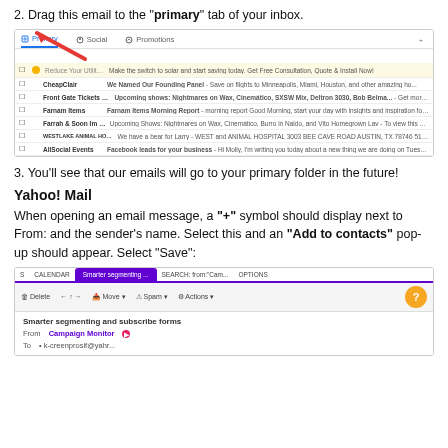2. Drag this email to the "primary" tab of your inbox.
[Figure (screenshot): Gmail inbox screenshot showing tabs (Primary, Social, Promotions) with a red arrow pointing to the Primary tab, and several email rows below including highlighted promotional email.]
3. You’ll see that our emails will go to your primary folder in the future!
Yahoo! Mail
When opening an email message, a "+" symbol should display next to From: and the sender’s name. Select this and an "Add to contacts" pop-up should appear. Select “Save”:
[Figure (screenshot): Yahoo Mail screenshot showing tabs (CALENDAR, Smarter segmenting..., SEARCH: from:"Cam..., OPTIONS), toolbar with Delete/Move/Spam/Actions buttons, email open showing subject 'Smarter segmenting and subscribe forms', From: Campaign Monitor with a pink arrow pointing to a + symbol, To: field.]